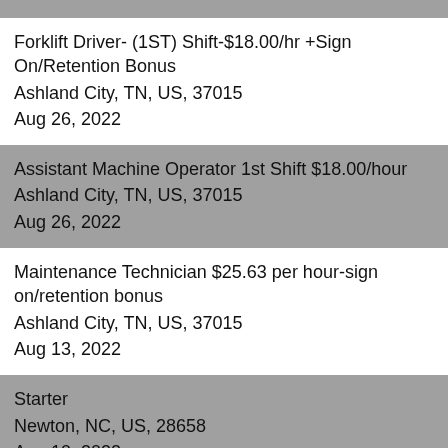Forklift Driver- (1ST) Shift-$18.00/hr +Sign On/Retention Bonus
Ashland City, TN, US, 37015
Aug 26, 2022
Assistant Machine Operator 1st Shift $18.00/hour
Ashland City, TN, US, 37015
Aug 26, 2022
Maintenance Technician $25.63 per hour-sign on/retention bonus
Ashland City, TN, US, 37015
Aug 13, 2022
Starter
Newton, NC, US, 28658
Aug 10, 2022